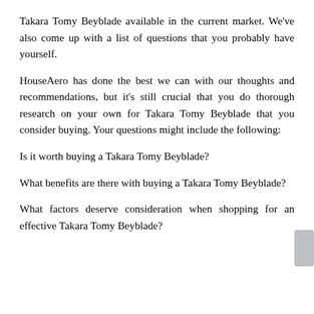Takara Tomy Beyblade available in the current market. We've also come up with a list of questions that you probably have yourself.
HouseAero has done the best we can with our thoughts and recommendations, but it's still crucial that you do thorough research on your own for Takara Tomy Beyblade that you consider buying. Your questions might include the following:
Is it worth buying a Takara Tomy Beyblade?
What benefits are there with buying a Takara Tomy Beyblade?
What factors deserve consideration when shopping for an effective Takara Tomy Beyblade?